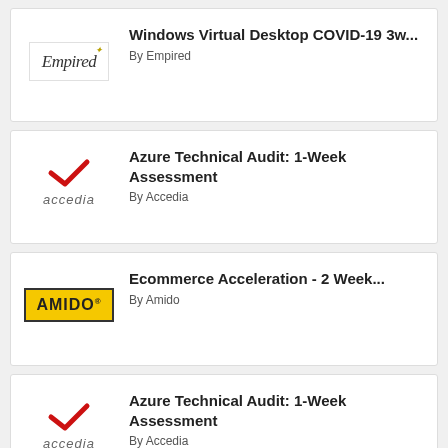[Figure (logo): Empired company logo in italic serif font with small star accent]
Windows Virtual Desktop COVID-19 3w...
By Empired
[Figure (logo): Accedia logo with red checkmark and italic text]
Azure Technical Audit: 1-Week Assessment
By Accedia
[Figure (logo): Amido logo in yellow box with black border]
Ecommerce Acceleration - 2 Week...
By Amido
[Figure (logo): Accedia logo with red checkmark and italic text]
Azure Technical Audit: 1-Week Assessment
By Accedia